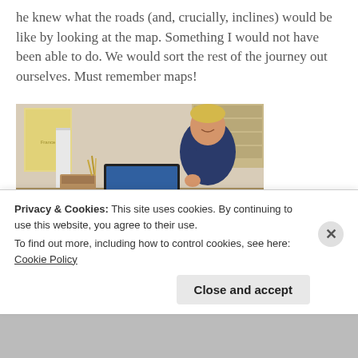he knew what the roads (and, crucially, inclines) would be like by looking at the map. Something I would not have been able to do. We would sort the rest of the journey out ourselves. Must remember maps!
[Figure (photo): A man sitting at a table with a laptop and paper maps spread out, smiling at the camera. A map of France is visible on the wall behind him, along with shelving.]
Privacy & Cookies: This site uses cookies. By continuing to use this website, you agree to their use.
To find out more, including how to control cookies, see here: Cookie Policy